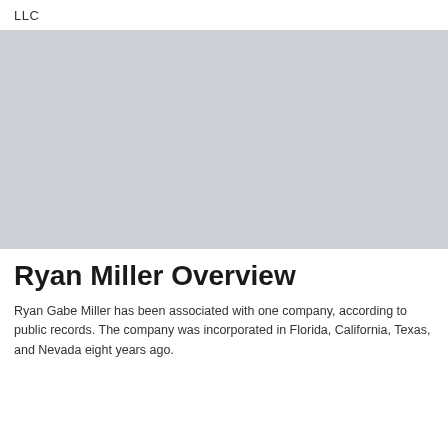LLC
[Figure (photo): Gray placeholder image area representing a photo of Ryan Gabe Miller]
Ryan Miller Overview
Ryan Gabe Miller has been associated with one company, according to public records. The company was incorporated in Florida, California, Texas, and Nevada eight years ago.